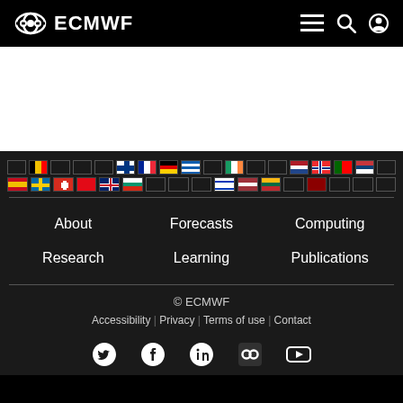ECMWF
[Figure (screenshot): White content area (hero/content band)]
[Figure (illustration): Two rows of country flag icons representing ECMWF member states]
About
Forecasts
Computing
Research
Learning
Publications
© ECMWF
Accessibility | Privacy | Terms of use | Contact
[Figure (illustration): Social media icons: Twitter, Facebook, LinkedIn, Flickr, YouTube]